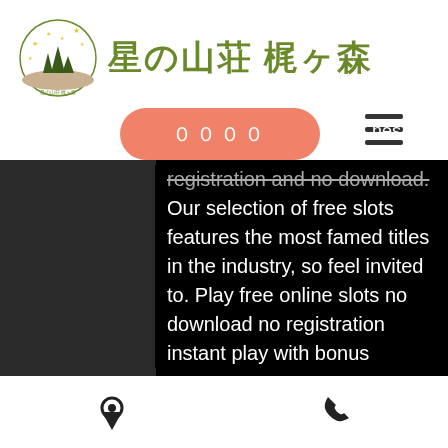[Figure (logo): Star Lodge Kajigamori logo with circular emblem showing trees and stars, with Japanese text]
星の山荘 梶ヶ森
[Figure (other): Orange rounded rectangle button with Japanese characters ００００]
[Figure (other): Hamburger menu icon (three horizontal lines)]
registration and no download. Our selection of free slots features the most famed titles in the industry, so feel invited to. Play free online slots no download no registration instant play with bonus rounds no depositing cash. The best free slot machine games without downloading. Top free slots casino games! download lotsa slots - free vegas casino slot machines now! play casino slots machines with game coin rounds and free spins. Hundreds of uses ~ don't pay $1. Style pc card games arcade poker®, casino poker® or 20th century faro" $30 each. Play free slots online. If you love to play slot
[location icon] [phone icon]